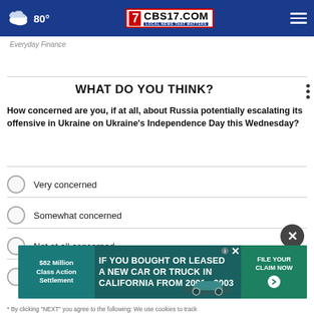CBS17.COM LOCAL NEWS THAT MATTERS — 80°
Everyday Finance
WHAT DO YOU THINK?
How concerned are you, if at all, about Russia potentially escalating its offensive in Ukraine on Ukraine's Independence Day this Wednesday?
Very concerned
Somewhat concerned
Not at all concerned
Other / No opinion
[Figure (infographic): Advertisement banner: $82 Million Class Action Settlement — IF YOU BOUGHT OR LEASED A NEW CAR OR TRUCK IN CALIFORNIA FROM 2001 - 2003, FILE YOUR CLAIM NOW]
* By clicking 'NEXT' you agree to the following: We use cookies to track